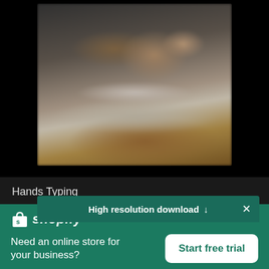[Figure (photo): Blurred close-up photo of hands typing on a laptop keyboard, placed on a wooden surface, with dark border framing.]
Hands Typing
High resolution download ↓
[Figure (logo): Shopify logo: shopping bag icon with 'shopify' wordmark in italic white text.]
Need an online store for your business?
Start free trial